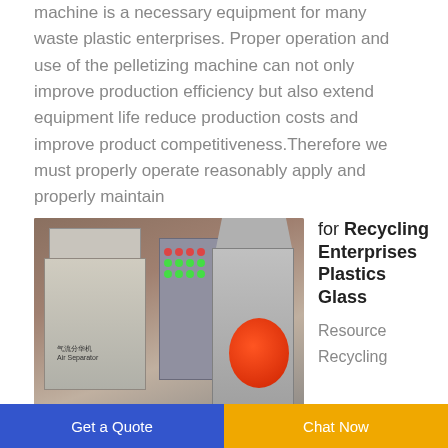machine is a necessary equipment for many waste plastic enterprises. Proper operation and use of the pelletizing machine can not only improve production efficiency but also extend equipment life reduce production costs and improve product competitiveness.Therefore we must properly operate reasonably apply and properly maintain
[Figure (photo): Industrial recycling equipment including an air separator machine and a shredder/granulator with control panel, photographed in an industrial setting with brick wall background.]
for Recycling Enterprises Plastics Glass
Resource Recycling
Get a Quote
Chat Now